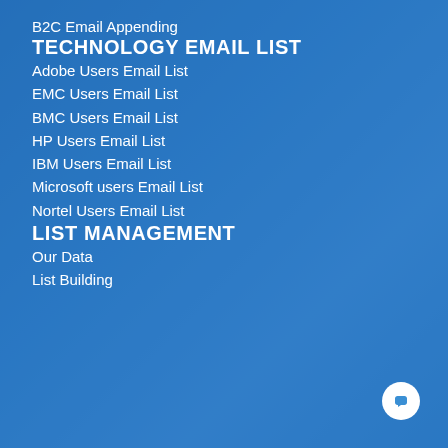B2C Email Appending
TECHNOLOGY EMAIL LIST
Adobe Users Email List
EMC Users Email List
BMC Users Email List
HP Users Email List
IBM Users Email List
Microsoft users Email List
Nortel Users Email List
LIST MANAGEMENT
Our Data
List Building